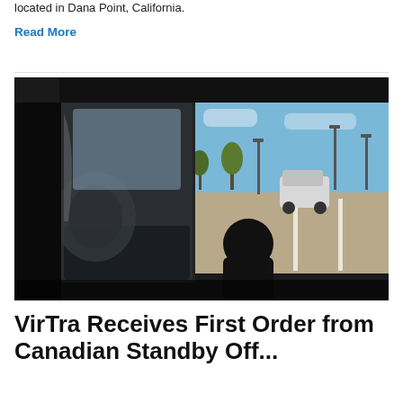located in Dana Point, California.
Read More
[Figure (photo): A person in a driving simulator with multiple screens showing a parking lot scene from the perspective of a truck cab. The left screen shows the interior of the truck, while the center and right screens show an outdoor parking lot with palm trees, light poles, and a white car in the distance. The simulator has a dark enclosure around the screens.]
VirTra Receives First Order from Canadian Standby Off...